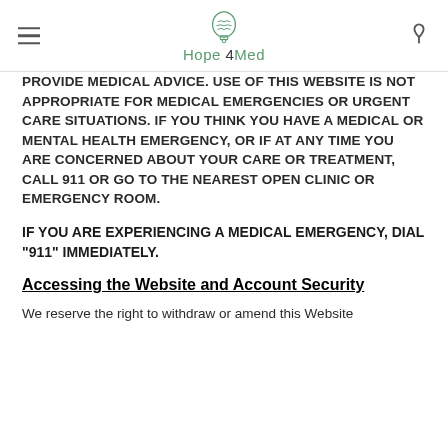Hope4Med
PROVIDE MEDICAL ADVICE. USE OF THIS WEBSITE IS NOT APPROPRIATE FOR MEDICAL EMERGENCIES OR URGENT CARE SITUATIONS. IF YOU THINK YOU HAVE A MEDICAL OR MENTAL HEALTH EMERGENCY, OR IF AT ANY TIME YOU ARE CONCERNED ABOUT YOUR CARE OR TREATMENT, CALL 911 OR GO TO THE NEAREST OPEN CLINIC OR EMERGENCY ROOM.
IF YOU ARE EXPERIENCING A MEDICAL EMERGENCY, DIAL “911” IMMEDIATELY.
Accessing the Website and Account Security
We reserve the right to withdraw or amend this Website